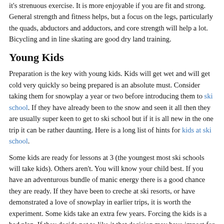it's strenuous exercise. It is more enjoyable if you are fit and strong. General strength and fitness helps, but a focus on the legs, particularly the quads, abductors and adductors, and core strength will help a lot. Bicycling and in line skating are good dry land training.
Young Kids
Preparation is the key with young kids. Kids will get wet and will get cold very quickly so being prepared is an absolute must. Consider taking them for snowplay a year or two before introducing them to ski school. If they have already been to the snow and seen it all then they are usually super keen to get to ski school but if it is all new in the one trip it can be rather daunting. Here is a long list of hints for kids at ski school.
Some kids are ready for lessons at 3 (the youngest most ski schools will take kids). Others aren't. You will know your child best. If you have an adventurous bundle of manic energy there is a good chance they are ready. If they have been to creche at ski resorts, or have demonstrated a love of snowplay in earlier trips, it is worth the experiment. Some kids take an extra few years. Forcing the kids is a bad plan. If they decide not to like it that decision may have impact for many years. You, and the rest of your family, are the ones who will suffer. Ski school is definitely the way to go. The kids' instructors are trained to convey weird concepts to children in